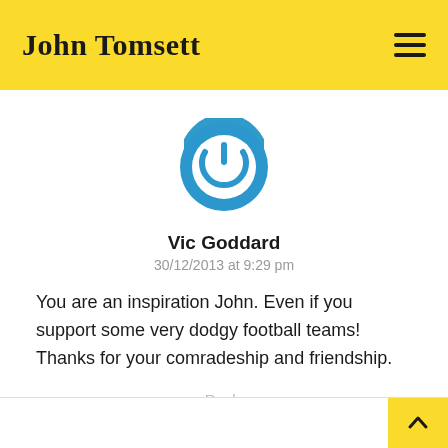John Tomsett
[Figure (logo): Blue circular power button icon used as avatar for Vic Goddard]
Vic Goddard
30/12/2013 at 9:29 pm
You are an inspiration John. Even if you support some very dodgy football teams! Thanks for your comradeship and friendship.
Reply